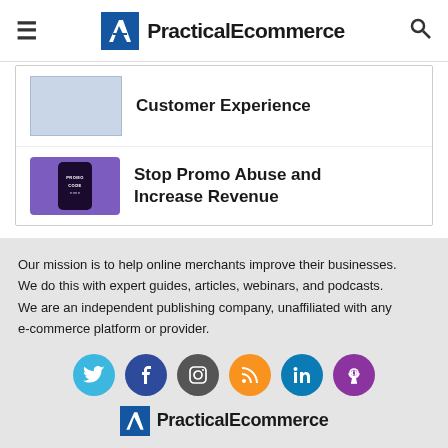PracticalEcommerce
Customer Experience
Stop Promo Abuse and Increase Revenue
Our mission is to help online merchants improve their businesses. We do this with expert guides, articles, webinars, and podcasts. We are an independent publishing company, unaffiliated with any e-commerce platform or provider.
[Figure (infographic): Social media icons row: Twitter (light blue), Facebook (dark blue), Instagram (dark gray), RSS (orange), LinkedIn (blue), Podcast (purple)]
PracticalEcommerce